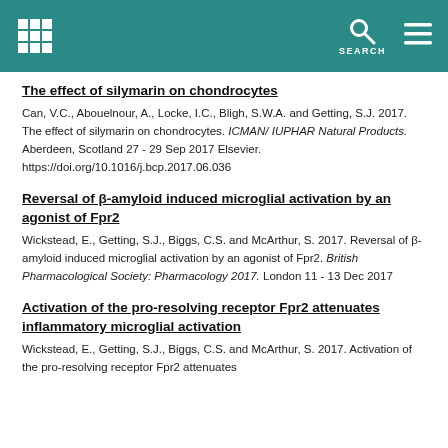SEARCH
The effect of silymarin on chondrocytes
Can, V.C., Abouelnour, A., Locke, I.C., Bligh, S.W.A. and Getting, S.J. 2017. The effect of silymarin on chondrocytes. ICMAN/ IUPHAR Natural Products. Aberdeen, Scotland 27 - 29 Sep 2017 Elsevier. https://doi.org/10.1016/j.bcp.2017.06.036
Reversal of β-amyloid induced microglial activation by an agonist of Fpr2
Wickstead, E., Getting, S.J., Biggs, C.S. and McArthur, S. 2017. Reversal of β-amyloid induced microglial activation by an agonist of Fpr2. British Pharmacological Society: Pharmacology 2017. London 11 - 13 Dec 2017
Activation of the pro-resolving receptor Fpr2 attenuates inflammatory microglial activation
Wickstead, E., Getting, S.J., Biggs, C.S. and McArthur, S. 2017. Activation of the pro-resolving receptor Fpr2 attenuates inflammatory microglial activation...